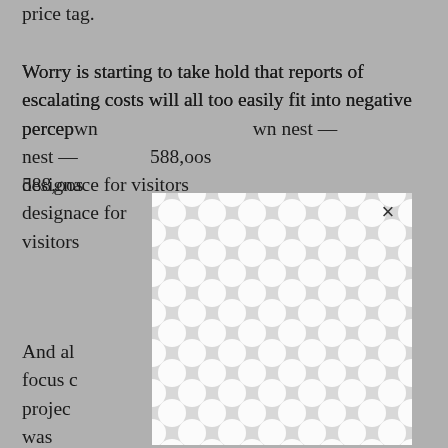price tag.
Worry is starting to take hold that reports of escalating costs will all too easily fit into negative perceptions — fouling their own nest — The project, which has 588,000 square feet and was designed to create a welcoming place for visitors…
[Figure (other): Modal overlay with close button (×) showing decorative pattern background obscuring part of article text]
And all… need to focus on… y project… cost $267 million when it was approved in 1999, the jump to $373.5 million came after two large infusions that changed the project's scope. After Sept. 11, 2001, $38.5 million